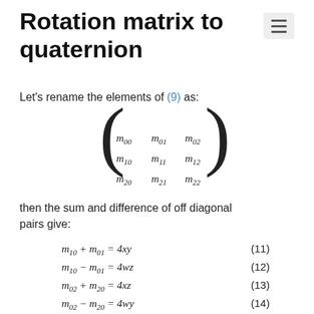Rotation matrix to quaternion
Let's rename the elements of (9) as:
then the sum and difference of off diagonal pairs give: